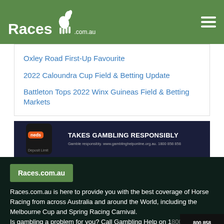Races.com.au
Oxley Road First-Up Favourite
2022 Caloundra Cup Field & Betting Update
Battleton Tops 2022 Winx Guineas Field & Betting Markets
[Figure (screenshot): Neds advertisement banner: orange Neds logo on phone, text TAKES GAMBLING RESPONSIBLY, Gamble responsibly. www.gamblinghelponline.org.au. 1800 858 858]
Races.com.au
Races.com.au is here to provide you with the best coverage of Horse Racing from across Australia and around the World, including the Melbourne Cup and Spring Racing Carnival. Is gambling a problem for you? Call Gambling Help on 1800 858